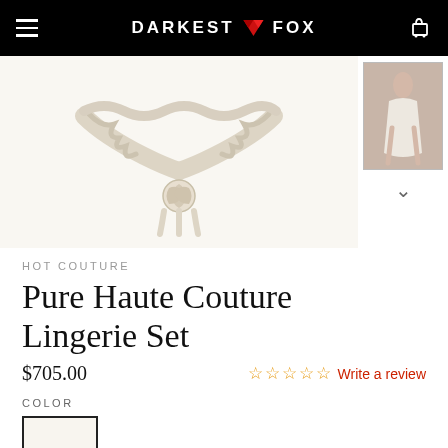DARKEST FOX
[Figure (photo): Product photo of white lace lingerie set with rose detail on white background, plus thumbnail of model wearing white lingerie]
HOT COUTURE
Pure Haute Couture Lingerie Set
$705.00
Write a review
COLOR
SIZE
XS
S
M
L